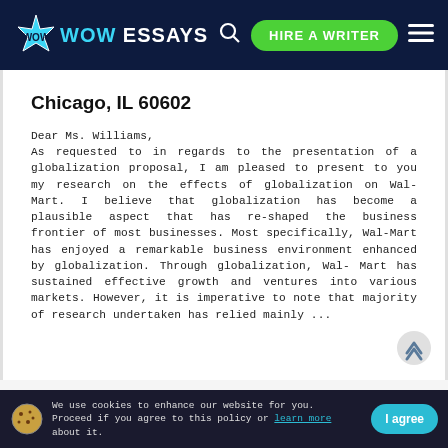WOW ESSAYS — HIRE A WRITER
Chicago, IL 60602
Dear Ms. Williams,
As requested to in regards to the presentation of a globalization proposal, I am pleased to present to you my research on the effects of globalization on Wal-Mart. I believe that globalization has become a plausible aspect that has re-shaped the business frontier of most businesses. Most specifically, Wal-Mart has enjoyed a remarkable business environment enhanced by globalization. Through globalization, Wal-Mart has sustained effective growth and ventures into various markets. However, it is imperative to note that majority of research undertaken has relied mainly ...
We use cookies to enhance our website for you. Proceed if you agree to this policy or learn more about it.   I agree